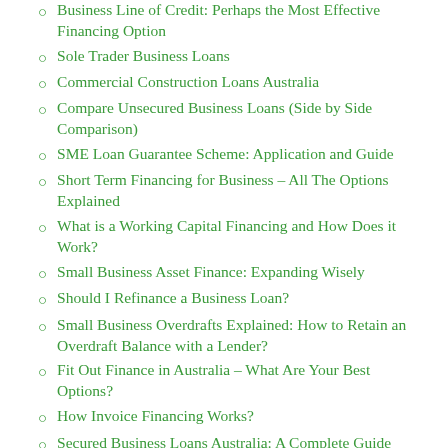Business Line of Credit: Perhaps the Most Effective Financing Option
Sole Trader Business Loans
Commercial Construction Loans Australia
Compare Unsecured Business Loans (Side by Side Comparison)
SME Loan Guarantee Scheme: Application and Guide
Short Term Financing for Business – All The Options Explained
What is a Working Capital Financing and How Does it Work?
Small Business Asset Finance: Expanding Wisely
Should I Refinance a Business Loan?
Small Business Overdrafts Explained: How to Retain an Overdraft Balance with a Lender?
Fit Out Finance in Australia – What Are Your Best Options?
How Invoice Financing Works?
Secured Business Loans Australia: A Complete Guide